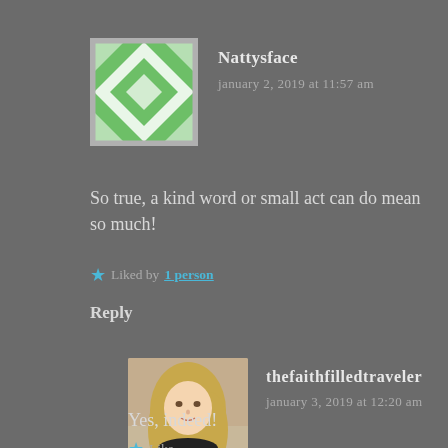[Figure (photo): Green and white geometric quilt-pattern avatar for user Nattysface]
Nattysface
january 2, 2019 at 11:57 am
So true, a kind word or small act can do mean so much!
Liked by 1 person
Reply
[Figure (photo): Photo of a woman with long blonde wavy hair wearing a black top, for user thefaithfilledtraveler]
thefaithfilledtraveler
january 3, 2019 at 12:20 am
Yes, indeed!
Like